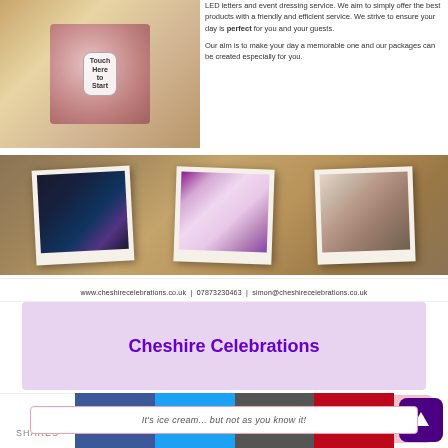[Figure (photo): Photo of a decorative wedding/event sign with flowers reading 'Touch Here to Start', alongside event dressing items on a wooden surface]
LED letters and event dressing service. We aim to simply offer the best products with a friendly and efficient service. We strive to ensure your day is perfect for you and your guests.

Our aim is to make your day a memorable one and our packages can be created especially for you.
[Figure (photo): A photo strip banner on a wooden background showing three polaroid-style photos hung on a line with pegs: left photo shows group of friends with props, center shows a bride and groom, right shows couple with novelty glasses]
www.cheshirecelebrations.co.uk | 07873230463 | simon@cheshirecelebrations.co.uk
Cheshire Celebrations
It's ice cream... but not as you know it!
0 SHARES